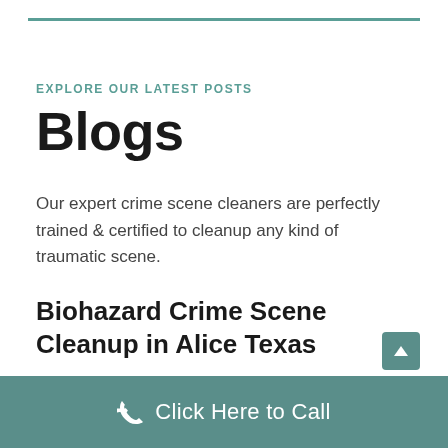EXPLORE OUR LATEST POSTS
Blogs
Our expert crime scene cleaners are perfectly trained & certified to cleanup any kind of traumatic scene.
Biohazard Crime Scene Cleanup in Alice Texas
Click Here to Call